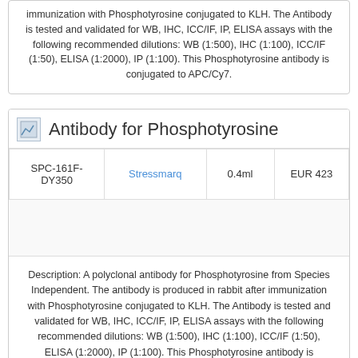immunization with Phosphotyrosine conjugated to KLH. The Antibody is tested and validated for WB, IHC, ICC/IF, IP, ELISA assays with the following recommended dilutions: WB (1:500), IHC (1:100), ICC/IF (1:50), ELISA (1:2000), IP (1:100). This Phosphotyrosine antibody is conjugated to APC/Cy7.
Antibody for Phosphotyrosine
|  |  |  |  |
| --- | --- | --- | --- |
| SPC-161F-DY350 | Stressmarq | 0.4ml | EUR 423 |
Description: A polyclonal antibody for Phosphotyrosine from Species Independent. The antibody is produced in rabbit after immunization with Phosphotyrosine conjugated to KLH. The Antibody is tested and validated for WB, IHC, ICC/IF, IP, ELISA assays with the following recommended dilutions: WB (1:500), IHC (1:100), ICC/IF (1:50), ELISA (1:2000), IP (1:100). This Phosphotyrosine antibody is conjugated to Dylight 350.